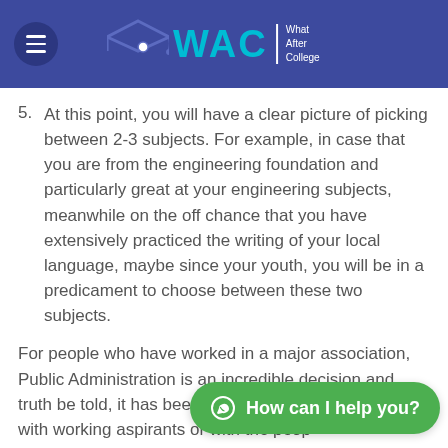WAC | What After College
5. At this point, you will have a clear picture of picking between 2-3 subjects. For example, in case that you are from the engineering foundation and particularly great at your engineering subjects, meanwhile on the off chance that you have extensively practiced the writing of your local language, maybe since your youth, you will be in a predicament to choose between these two subjects.
For people who have worked in a major association, Public Administration is an incredible decision and truth be told, it has been the most common optional with working aspirants or with the people having government employments.
[Figure (other): Green chat button with WhatsApp icon saying 'How can I help you?']